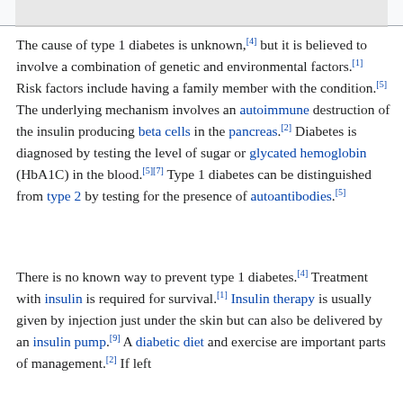[Figure (other): Top partial image bar from a Wikipedia article, showing a grey/light image strip at the top of the page]
The cause of type 1 diabetes is unknown,[4] but it is believed to involve a combination of genetic and environmental factors.[1] Risk factors include having a family member with the condition.[5] The underlying mechanism involves an autoimmune destruction of the insulin producing beta cells in the pancreas.[2] Diabetes is diagnosed by testing the level of sugar or glycated hemoglobin (HbA1C) in the blood.[5][7] Type 1 diabetes can be distinguished from type 2 by testing for the presence of autoantibodies.[5]
There is no known way to prevent type 1 diabetes.[4] Treatment with insulin is required for survival.[1] Insulin therapy is usually given by injection just under the skin but can also be delivered by an insulin pump.[9] A diabetic diet and exercise are important parts of management.[2] If left